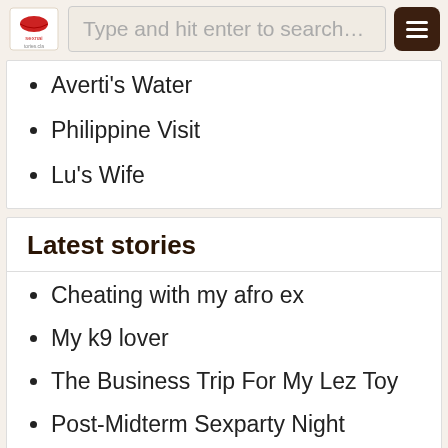Type and hit enter to search…
Averti's Water
Philippine Visit
Lu's Wife
Latest stories
Cheating with my afro ex
My k9 lover
The Business Trip For My Lez Toy
Post-Midterm Sexparty Night
My First Fat Pussy My First Sex